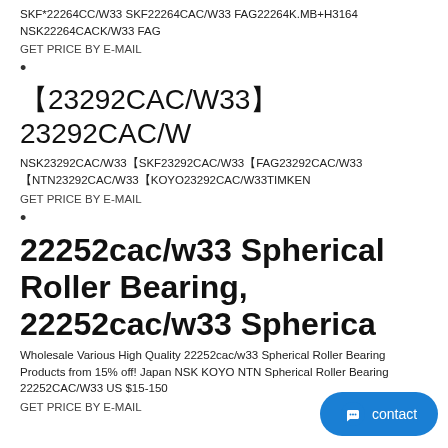SKF*22264CC/W33 SKF22264CAC/W33 FAG22264K.MB+H3164 NSK22264CACK/W33 FAG
GET PRICE BY E-MAIL
•
【23292CAC/W33】 23292CAC/W
NSK23292CAC/W33【SKF23292CAC/W33【FAG23292CAC/W33【NTN23292CAC/W33【KOYO23292CAC/W33TIMKEN
GET PRICE BY E-MAIL
•
22252cac/w33 Spherical Roller Bearing, 22252cac/w33 Spherica
Wholesale Various High Quality 22252cac/w33 Spherical Roller Bearing Products from 15% off! Japan NSK KOYO NTN Spherical Roller Bearing 22252CAC/W33 US $15-150
GET PRICE BY E-MAIL